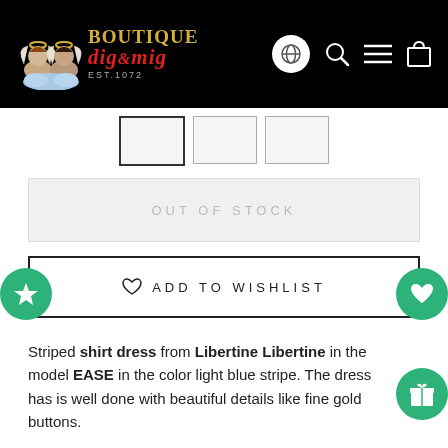[Figure (logo): Boutique Dig & Mig logo with two cherub angels, gothic text 'BOUTIQUE' in gold, 'dig&mig' in red italic, 'EST.1072' below, on black header background with navigation icons (globe, search, menu, bag)]
OUT OF STOCK
♡  ADD TO WISHLIST
Striped shirt dress from Libertine Libertine in the model EASE in the color light blue stripe. The dress has is well done with beautiful details like fine gold buttons.

Quality:  100% cotton